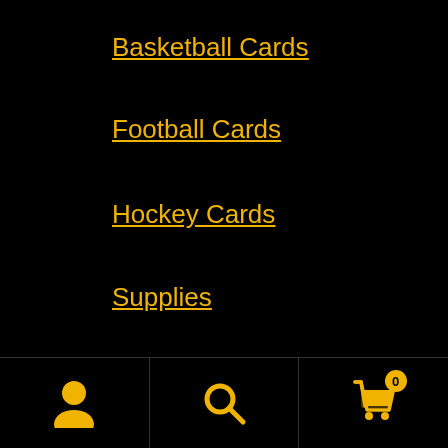Basketball Cards
Football Cards
Hockey Cards
Supplies
Return Policy
Shipping Policy
Product tags
[Figure (infographic): Bottom navigation bar with user account icon, search icon, and shopping cart icon with badge showing 0]